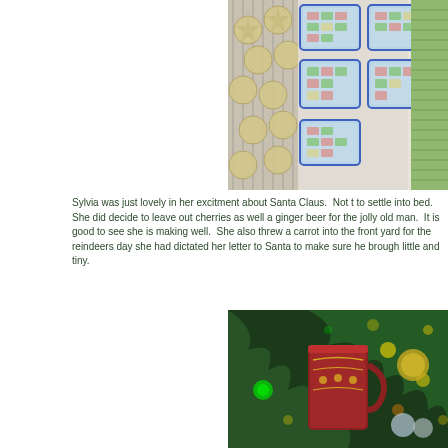[Figure (photo): Overhead view of multiple clear plastic containers with blue lids filled with pink and green candy/sweets pieces, arranged on a white surface alongside a cooling rack with star-shaped pastries and stacked green confections on the right.]
Sylvia was just lovely in her excitment about Santa Claus.  Not t to settle into bed.  She did decide to leave out cherries as well a ginger beer for the jolly old man.  It is good to see she is making well.  She also threw a carrot into the front yard for the reindeers day she had dictated her letter to Santa to make sure he brough little and tiny.
[Figure (photo): Close-up of a decorated ceramic mug/cup against a Christmas tree background with green lights, gold ornaments, and holiday decorations.]